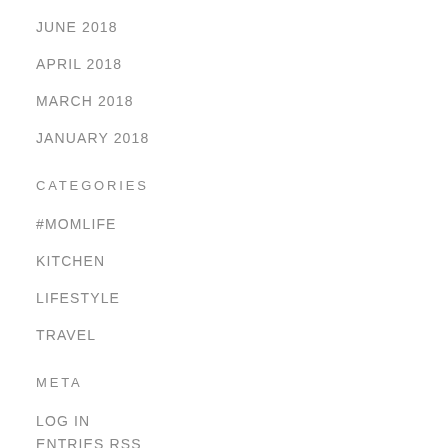JUNE 2018
APRIL 2018
MARCH 2018
JANUARY 2018
CATEGORIES
#MOMLIFE
KITCHEN
LIFESTYLE
TRAVEL
META
LOG IN
ENTRIES RSS
COMMENTS RSS